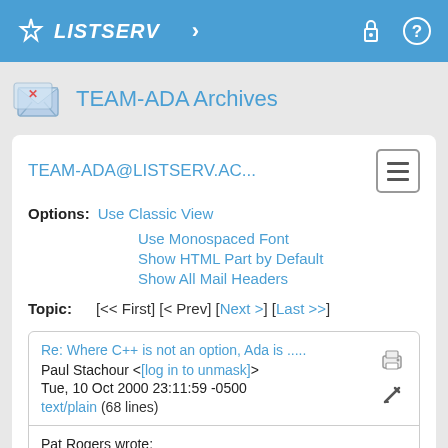LISTSERV
TEAM-ADA Archives
TEAM-ADA@LISTSERV.AC...
Options: Use Classic View
Use Monospaced Font
Show HTML Part by Default
Show All Mail Headers
Topic: [<< First] [< Prev] [Next >] [Last >>]
Re: Where C++ is not an option, Ada is .....
Paul Stachour <[log in to unmask]>
Tue, 10 Oct 2000 23:11:59 -0500
text/plain (68 lines)
Pat Rogers wrote: